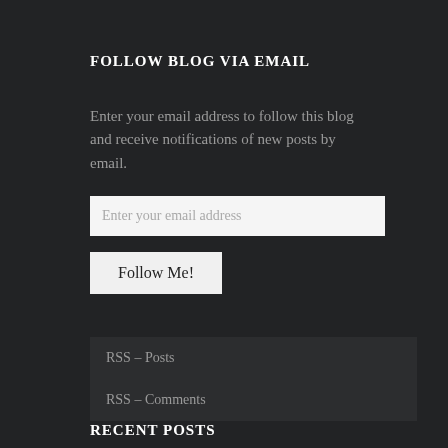FOLLOW BLOG VIA EMAIL
Enter your email address to follow this blog and receive notifications of new posts by email.
[Figure (screenshot): Email input field with placeholder text 'Enter your email address']
[Figure (screenshot): Follow Me! button]
RSS – Posts
RSS – Comments
RECENT POSTS